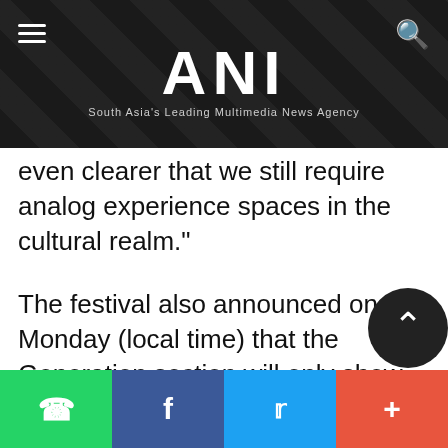ANI — South Asia's Leading Multimedia News Agency
even clearer that we still require analog experience spaces in the cultural realm."
The festival also announced on Monday (local time) that the Generation section will only show feature-length films with a running time of at least 60 minutes, and no short films, in its Generation Kplus and Generation 14plus competition programs.
The Berlin Film Festival also said tha
Social share bar: WhatsApp, Facebook, Twitter, More